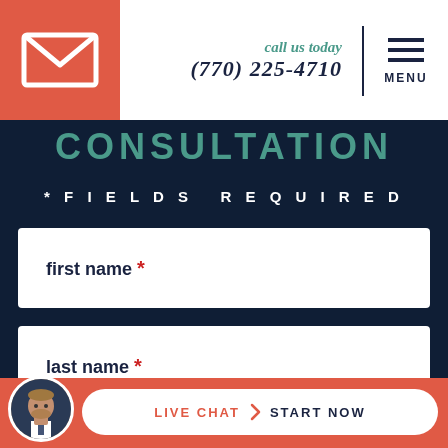[Figure (logo): Email envelope icon in white on coral/orange background square]
call us today
(770) 225-4710
[Figure (other): Hamburger menu icon with MENU label]
CONSULTATION
*FIELDS REQUIRED
first name *
last name *
email *
[Figure (photo): Circular avatar photo of a man in a suit with beard, live chat button with START NOW label]